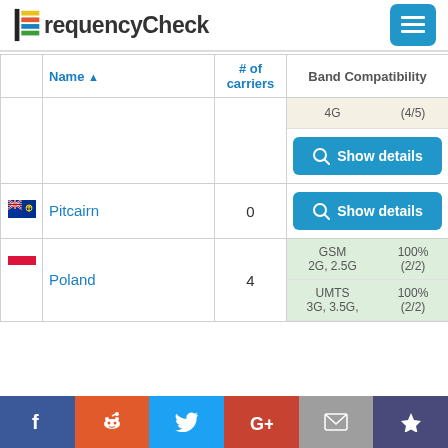FrequencyCheck
|  | Name ▲ | # of carriers | Band Compatibility |
| --- | --- | --- | --- |
|  |  |  | 4G | (4/5) | Show details |
| [Pitcairn flag] | Pitcairn | 0 | Show details |
| [Poland flag] | Poland | 4 | GSM 2G, 2.5G | 100% (2/2) | UMTS 3G, 3.5G, | 100% (2/2) |
Facebook | Reddit | Twitter | Google+ | Email | Crown